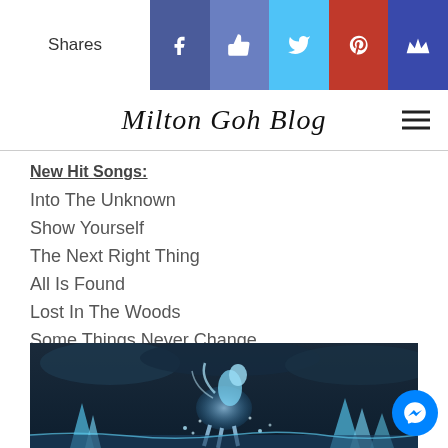Shares | Facebook | Like | Twitter | Pinterest | Crown
Milton Goh Blog
New Hit Songs:
Into The Unknown
Show Yourself
The Next Right Thing
All Is Found
Lost In The Woods
Some Things Never Change
When I Am Older
[Figure (illustration): A glowing blue horse rearing up amid ice crystals and water spray against a dark stormy sky background.]